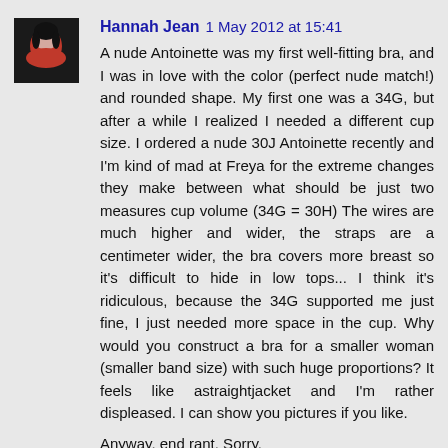[Figure (photo): Small avatar photo of a woman with dark hair, wearing a red top, against a dark background.]
Hannah Jean  1 May 2012 at 15:41
A nude Antoinette was my first well-fitting bra, and I was in love with the color (perfect nude match!) and rounded shape. My first one was a 34G, but after a while I realized I needed a different cup size. I ordered a nude 30J Antoinette recently and I'm kind of mad at Freya for the extreme changes they make between what should be just two measures cup volume (34G = 30H) The wires are much higher and wider, the straps are a centimeter wider, the bra covers more breast so it's difficult to hide in low tops... I think it's ridiculous, because the 34G supported me just fine, I just needed more space in the cup. Why would you construct a bra for a smaller woman (smaller band size) with such huge proportions? It feels like astraightjacket and I'm rather displeased. I can show you pictures if you like.
Anyway, end rant. Sorry.
Reply